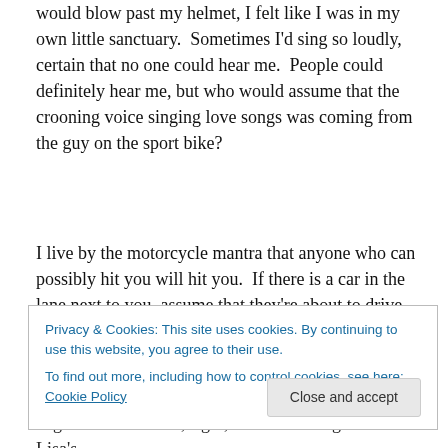would blow past my helmet, I felt like I was in my own little sanctuary.  Sometimes I'd sing so loudly, certain that no one could hear me.  People could definitely hear me, but who would assume that the crooning voice singing love songs was coming from the guy on the sport bike?
I live by the motorcycle mantra that anyone who can possibly hit you will hit you.  If there is a car in the lane next to you, assume that they're about to drive right into you.  If someone is ahead of you, assume they're going to slam on the brakes for no reason.  The idea is that you just
Privacy & Cookies: This site uses cookies. By continuing to use this website, you agree to their use.
To find out more, including how to control cookies, see here: Cookie Policy
engine.  Looked left, right, center.  I thought about Lisa's